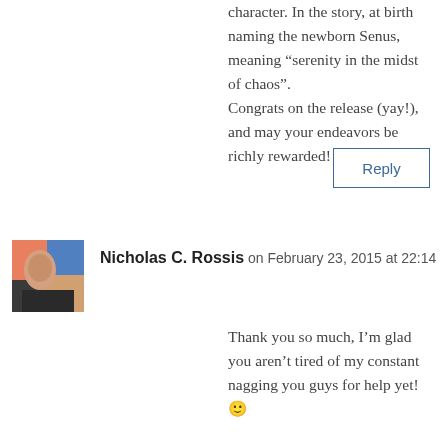character. In the story, at birth naming the newborn Senus, meaning “serenity in the midst of chaos”.
Congrats on the release (yay!), and may your endeavors be richly rewarded!
Reply
Nicholas C. Rossis on February 23, 2015 at 22:14
Thank you so much, I’m glad you aren’t tired of my constant nagging you guys for help yet! 🙂

Feel free to use that tweet, if you like it (I’ll just remove it from my list, as I’ve got over a dozen) 🙂